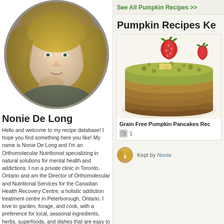[Figure (photo): Portrait photo of Nonie De Long, a blonde woman resting her chin on her hand, with a soft vignette effect]
Nonie De Long
Hello and welcome to my recipe database! I hope you find something here you like! My name is Nonie De Long and I'm an Orthomolecular Nutritionist specializing in natural solutions for mental health and addictions. I run a private clinic in Toronto, Ontario and am the Director of Orthomolecular and Nutritional Services for the Canadian Health Recovery Centre, a holistic addiction treatment centre in Peterborough, Ontario. I love to garden, forage, and cook, with a preference for local, seasonal ingredients, herbs, superfoods, and dishes that are easy to prepare. I'm adverse to measuring and am excited by fresh twists and simple ingredients. Recipes I collect are invariably free of cane and
See All Pumpkin Recipes >>
Pumpkin Recipes Ke
[Figure (photo): Stack of grain free pumpkin pancakes topped with a fresh strawberry on a white plate]
Grain Free Pumpkin Pancakes Rec
1
Kept by Nonie